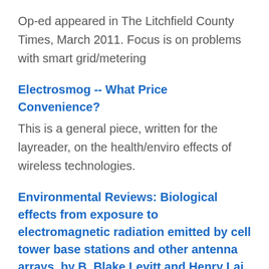Op-ed appeared in The Litchfield County Times, March 2011. Focus is on problems with smart grid/metering
Electrosmog -- What Price Convenience?
This is a general piece, written for the layreader, on the health/enviro effects of wireless technologies.
Environmental Reviews: Biological effects from exposure to electromagnetic radiation emitted by cell tower base stations and other antenna arrays, by B. Blake Levitt and Henry Lai
This paper was published in 2010 in Environmental Reviews, one of the peer-reviewed journals of Canada's National